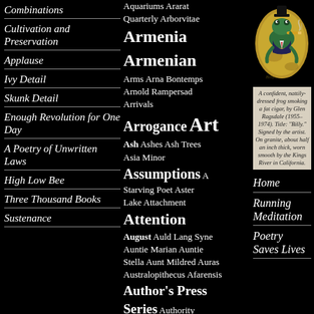Combinations
Cultivation and Preservation
Applause
Ivy Detail
Skunk Detail
Enough Revolution for One Day
A Poetry of Unwritten Laws
High Low Bee
Three Thousand Books
Sustenance
Aquariums Ararat Quarterly Arborvitae Armenia Armenian Arms Arna Bontemps Arnold Rampersad Arrivals Arrogance Art Ash Ashes Ash Trees Asia Minor Assumptions A Starving Poet Aster Lake Attachment Attention August Auld Lang Syne Auntie Marian Auntie Stella Aunt Mildred Auras Australopithecus Afarensis Author's Press Series Authority Autobiography Avalanches Avenue 404 Avenue 408 Avenue 412 Awareness
[Figure (photo): A painted rock depicting a confident, nattily-dressed frog smoking a fat cigar, by Glen Ragsdale (1955-1974). Title: Billy. On granite, about half an inch thick, worn smooth by the Kings River in California.]
A confident, nattily-dressed frog smoking a fat cigar, by Glen Ragsdale (1955–1974). Title: "Billy." Signed by the artist. On granite, about half an inch thick, worn smooth by the Kings River in California.
Home
Running Meditation
Poetry Saves Lives